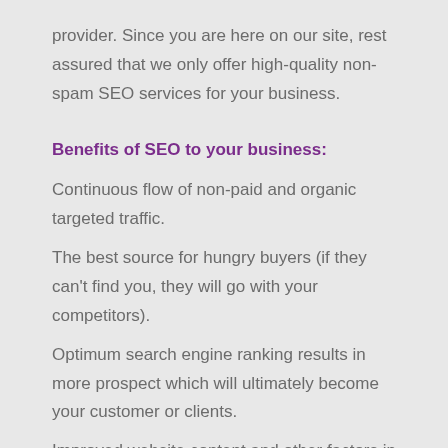provider. Since you are here on our site, rest assured that we only offer high-quality non-spam SEO services for your business.
Benefits of SEO to your business:
Continuous flow of non-paid and organic targeted traffic.
The best source for hungry buyers (if they can't find you, they will go with your competitors).
Optimum search engine ranking results in more prospect which will ultimately become your customer or clients.
Improved website content and other factors in your website.
Chance to peek at the behavioral data of your visitors via